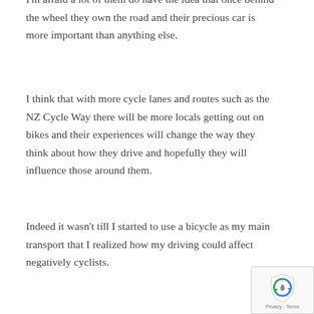I'm afraid a lot of them do have the idea that once behind the wheel they own the road and their precious car is more important than anything else.
I think that with more cycle lanes and routes such as the NZ Cycle Way there will be more locals getting out on bikes and their experiences will change the way they think about how they drive and hopefully they will influence those around them.
Indeed it wasn't till I started to use a bicycle as my main transport that I realized how my driving could affect negatively cyclists.
[Figure (logo): reCAPTCHA badge with shield icon and Privacy/Terms text]